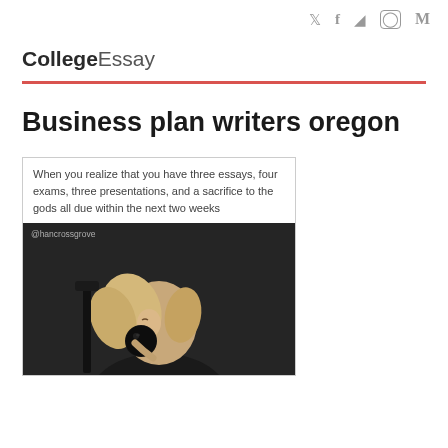🐦 f 👻 ○ M
CollegeEssay
Business plan writers oregon
When you realize that you have three essays, four exams, three presentations, and a sacrifice to the gods all due within the next two weeks
[Figure (photo): A young woman with blonde hair drinking from or kissing a black microphone/object, dark background, watermark @hancrossgrove]